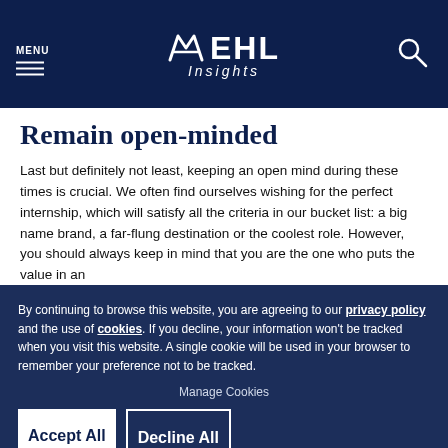MENU | EHL Insights
Remain open-minded
Last but definitely not least, keeping an open mind during these times is crucial. We often find ourselves wishing for the perfect internship, which will satisfy all the criteria in our bucket list: a big name brand, a far-flung destination or the coolest role. However, you should always keep in mind that you are the one who puts the value in an
By continuing to browse this website, you are agreeing to our privacy policy and the use of cookies. If you decline, your information won't be tracked when you visit this website. A single cookie will be used in your browser to remember your preference not to be tracked.
Manage Cookies
Accept All
Decline All